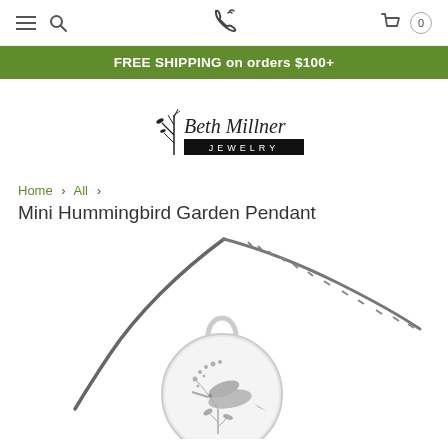Navigation bar with hamburger menu, search, phone, cart (0)
FREE SHIPPING on orders $100+
[Figure (logo): Beth Millner Jewelry logo with illustrated plant/tree branches and handwritten style text]
Home > All > Mini Hummingbird Garden Pendant
Mini Hummingbird Garden Pendant
[Figure (photo): Close-up photo of a circular silver pendant on a dark chain. The pendant features an engraved hummingbird with floral garden elements — a hummingbird silhouette, a plant with leaves and small circular flowers. The chain is a dark box-link style. White background.]